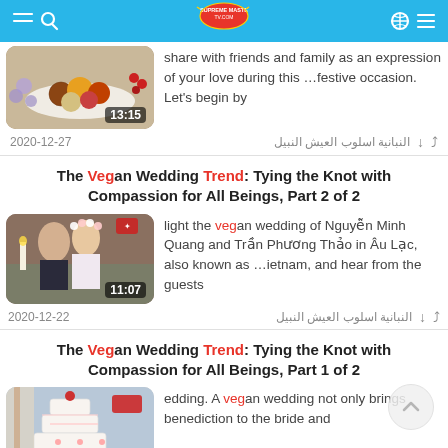Supreme Master TV header bar
share with friends and family as an expression of your love during this …festive occasion. Let's begin by
2020-12-27
النبانية اسلوب العيش النبيل
The Vegan Wedding Trend: Tying the Knot with Compassion for All Beings, Part 2 of 2
light the vegan wedding of Nguyễn Minh Quang and Trần Phương Thảo in Âu Lạc, also known as …ietnam, and hear from the guests
2020-12-22
النبانية اسلوب العيش النبيل
The Vegan Wedding Trend: Tying the Knot with Compassion for All Beings, Part 1 of 2
edding. A vegan wedding not only brings benediction to the bride and